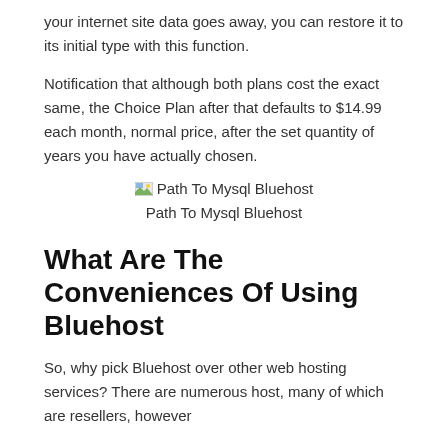your internet site data goes away, you can restore it to its initial type with this function.
Notification that although both plans cost the exact same, the Choice Plan after that defaults to $14.99 each month, normal price, after the set quantity of years you have actually chosen.
[Figure (other): Broken image placeholder labeled 'Path To Mysql Bluehost']
Path To Mysql Bluehost
What Are The Conveniences Of Using Bluehost
So, why pick Bluehost over other web hosting services? There are numerous host, many of which are resellers, however